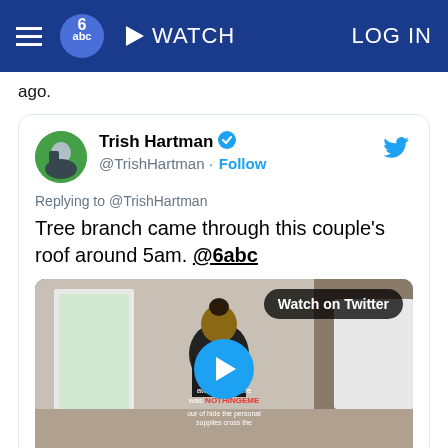WATCH  LOG IN
ago.
[Figure (screenshot): Embedded tweet from Trish Hartman (@TrishHartman) with verified badge and Follow button. Replying to @TrishHartman. Tweet text: 'Tree branch came through this couple's roof around 5am. @6abc'. Includes a video thumbnail showing a person from behind in a dark shirt with text overlays, a blue play button, and a 'Watch on Twitter' badge.]